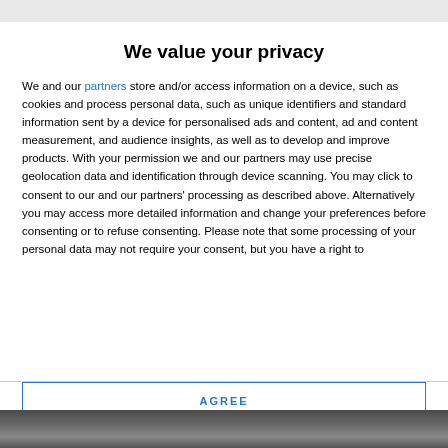We value your privacy
We and our partners store and/or access information on a device, such as cookies and process personal data, such as unique identifiers and standard information sent by a device for personalised ads and content, ad and content measurement, and audience insights, as well as to develop and improve products. With your permission we and our partners may use precise geolocation data and identification through device scanning. You may click to consent to our and our partners' processing as described above. Alternatively you may access more detailed information and change your preferences before consenting or to refuse consenting. Please note that some processing of your personal data may not require your consent, but you have a right to
AGREE
MORE OPTIONS
[Figure (photo): Bottom strip showing a partial outdoor photo scene]